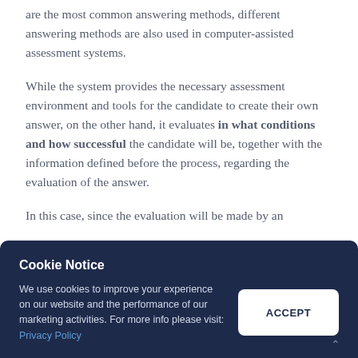are the most common answering methods, different answering methods are also used in computer-assisted assessment systems.
While the system provides the necessary assessment environment and tools for the candidate to create their own answer, on the other hand, it evaluates in what conditions and how successful the candidate will be, together with the information defined before the process, regarding the evaluation of the answer.
In this case, since the evaluation will be made by an
[Figure (screenshot): Cookie Notice overlay with dark navy background. Title 'Cookie Notice' in white bold text. Body text: 'We use cookies to improve your experience on our website and the performance of our marketing activities. For more info please visit: Privacy Policy' (Privacy Policy in blue link). An 'ACCEPT' button in white with navy text on the right side.]